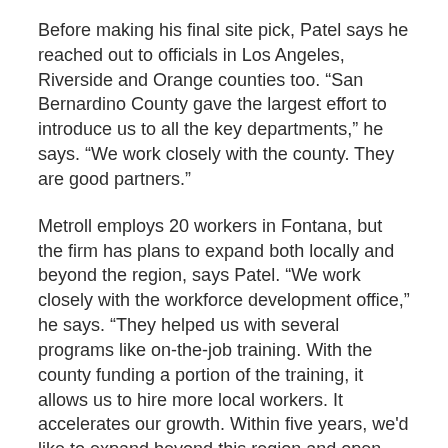Before making his final site pick, Patel says he reached out to officials in Los Angeles, Riverside and Orange counties too. “San Bernardino County gave the largest effort to introduce us to all the key departments,” he says. “We work closely with the county. They are good partners.”
Metroll employs 20 workers in Fontana, but the firm has plans to expand both locally and beyond the region, says Patel. “We work closely with the workforce development office,” he says. “They helped us with several programs like on-the-job training. With the county funding a portion of the training, it allows us to hire more local workers. It accelerates our growth. Within five years, we’d like to expand beyond this region and open new offices about 500 to 600 miles away. Sacramento would be high on our list. Going east, we would likely look at Utah, Denver and Phoenix.”
Patel says he likes San Bernardino County as the permanent home base because “we’re seeing a lot of growth locally. With e-commerce growing nationwide, we’re seeing a lot of new metal building construction in the region. Fontana is